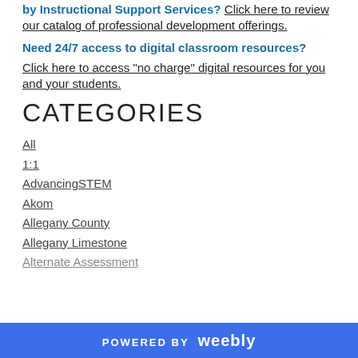by Instructional Support Services? Click here to review our catalog of professional development offerings.
Need 24/7 access to digital classroom resources?
Click here to access "no charge" digital resources for you and your students.
CATEGORIES
All
1:1
AdvancingSTEM
Akom
Allegany County
Allegany Limestone
Alternate Assessment
POWERED BY weebly